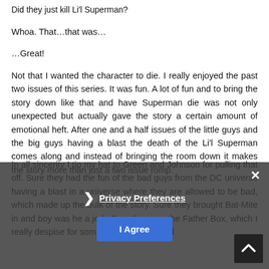Did they just kill Li'l Superman?
Whoa. That…that was…
…Great!
Not that I wanted the character to die. I really enjoyed the past two issues of this series. It was fun. A lot of fun and to bring the story down like that and have Superman die was not only unexpected but actually gave the story a certain amount of emotional heft. After one and a half issues of the little guys and the big guys having a blast the death of the Li'l Superman comes along and instead of bringing the room down it makes the story more than just a two issue romp.
In all sincerity I tip my hat to Green and Johnson for pulling that off. Sure they had the fun of the bad guys from the DC universe having a blast in a universe where they are allowed to be bad, which made up the bulk of the story. Sure they brought Bat-Mite in and boy was he a jerk. Sure they used the Father Box, which I really despise for some reason. At the end
Privacy Preferences
I Agree